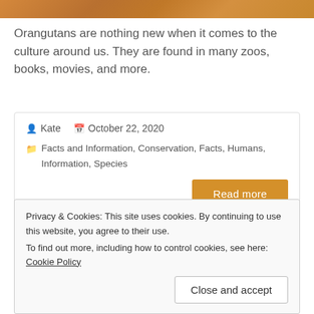[Figure (photo): Top portion of an orangutan photo, showing warm orange-brown fur, cropped at top of page]
Orangutans are nothing new when it comes to the culture around us. They are found in many zoos, books, movies, and more.
Kate | October 22, 2020 | Facts and Information, Conservation, Facts, Humans, Information, Species | Read more
Orangutans and Coronavirus
Privacy & Cookies: This site uses cookies. By continuing to use this website, you agree to their use. To find out more, including how to control cookies, see here: Cookie Policy
Close and accept